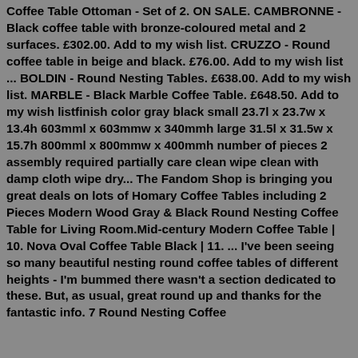Coffee Table Ottoman - Set of 2. ON SALE. CAMBRONNE - Black coffee table with bronze-coloured metal and 2 surfaces. £302.00. Add to my wish list. CRUZZO - Round coffee table in beige and black. £76.00. Add to my wish list ... BOLDIN - Round Nesting Tables. £638.00. Add to my wish list. MARBLE - Black Marble Coffee Table. £648.50. Add to my wish listfinish color gray black small 23.7l x 23.7w x 13.4h 603mml x 603mmw x 340mmh large 31.5l x 31.5w x 15.7h 800mml x 800mmw x 400mmh number of pieces 2 assembly required partially care clean wipe clean with damp cloth wipe dry... The Fandom Shop is bringing you great deals on lots of Homary Coffee Tables including 2 Pieces Modern Wood Gray & Black Round Nesting Coffee Table for Living Room.Mid-century Modern Coffee Table | 10. Nova Oval Coffee Table Black | 11. ... I've been seeing so many beautiful nesting round coffee tables of different heights - I'm bummed there wasn't a section dedicated to these. But, as usual, great round up and thanks for the fantastic info. 7 Round Nesting Coffee